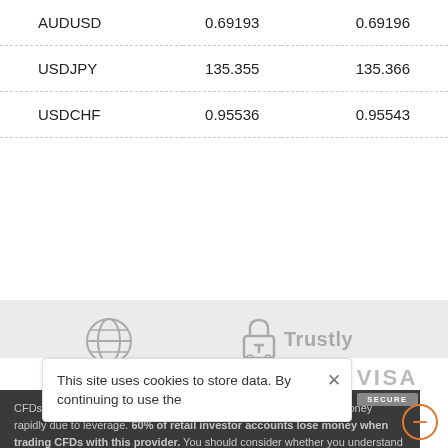| Pair | Bid | Ask |
| --- | --- | --- |
| AUDUSD | 0.69193 | 0.69196 |
| USDJPY | 135.355 | 135.366 |
| USDCHF | 0.95536 | 0.95543 |
[Figure (logo): Globe/world icon (payment method logo)]
[Figure (logo): Trustly payment logo with padlock icon and text 'Trustly']
This site uses cookies to store data. By continuing to use the
[Figure (logo): VISA SECURE logo]
CFDs are complex instruments and come with a high risk of losing money rapidly due to leverage. 60% of retail investor accounts lose money when trading CFDs with this provider. You should consider whether you understand how CFDs work, and whether you can afford to take the high risk of losing your money.